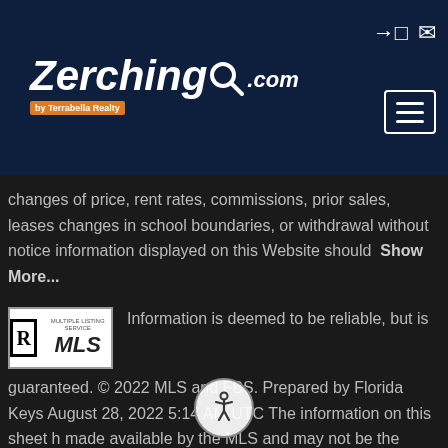[Figure (logo): Zerching.com by Terrabella Realty logo on dark navy header, with magnifying glass icon. Header also has login/mail icons and a hamburger menu button.]
changes of price, rent rates, commissions, prior sales, leases changes in school boundaries, or withdrawal without notice information displayed on this Website should  Show More...
[Figure (logo): REALTOR MLS logo - black R in box with Multiple Listing Service MLS text]
Information is deemed to be reliable, but is not guaranteed. © 2022 MLS and FBS. Prepared by Florida Keys August 28, 2022 5:14 AM UTC The information on this sheet has been made available by the MLS and may not be the listing of the agent. The data relating to real estate for sale on this web site comes from the Florida Keys MLS, Inc. Information provided is deemed reliable but not guaranteed. All properties are subject to prior sale, change or withdrawal. The information  Show More...